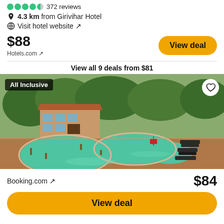372 reviews
4.3 km from Girivihar Hotel
Visit hotel website ↗
$88
Hotels.com ↗
View deal
View all 9 deals from $81
[Figure (photo): Outdoor swimming pool with green water, lounge chairs, and lush trees in the background. Badge reads 'All Inclusive'.]
Booking.com ↗
$84
View deal